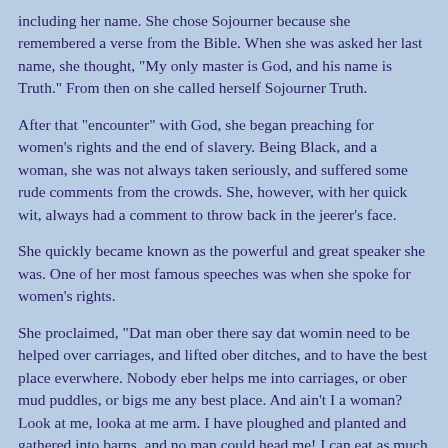including her name. She chose Sojourner because she remembered a verse from the Bible. When she was asked her last name, she thought, "My only master is God, and his name is Truth." From then on she called herself Sojourner Truth.
After that "encounter" with God, she began preaching for women's rights and the end of slavery. Being Black, and a woman, she was not always taken seriously, and suffered some rude comments from the crowds. She, however, with her quick wit, always had a comment to throw back in the jeerer's face.
She quickly became known as the powerful and great speaker she was. One of her most famous speeches was when she spoke for women's rights.
She proclaimed, "Dat man ober there say dat womin need to be helped over carriages, and lifted ober ditches, and to have the best place everwhere. Nobody eber helps me into carriages, or ober mud puddles, or bigs me any best place. And ain't I a woman? Look at me, looka at me arm. I have ploughed and planted and gathered into barns, and no man could head me! I can eat as much as any mand, and bare the lash as well, and ain't I a woman?"
The crowd erupted into cheers, encouraging Truth more. She continued speaking throughout the free states, and even wrote an